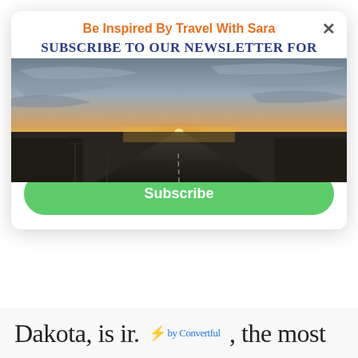[Figure (photo): Sunset photo taken from a road perspective, looking down a straight highway toward a bright orange and yellow sunset on the horizon, with utility poles on the left and bare trees on the right, dramatic cloudy sky above.]
Be Inspired By Travel With Sara
Subscribe to our Newsletter for Travel Tips
Your Name
Your Email
Subscribe
Dakota, is ir. ⚡ by Convertful , the most